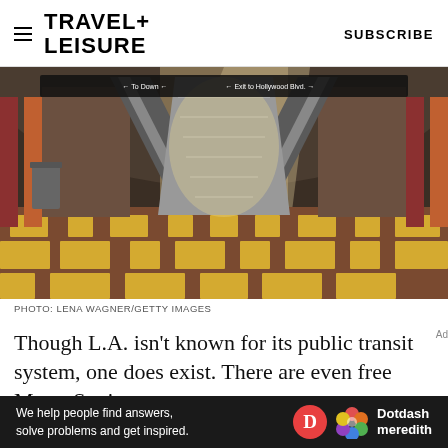TRAVEL+ LEISURE  SUBSCRIBE
[Figure (photo): Interior of a Los Angeles Metro station showing escalators, stairs, and a decorative yellow and brown tiled floor with a vaulted ceiling]
PHOTO: LENA WAGNER/GETTY IMAGES
Though L.A. isn't known for its public transit system, one does exist. There are even free Metro Station
[Figure (infographic): Dotdash Meredith advertisement banner: 'We help people find answers, solve problems and get inspired.']